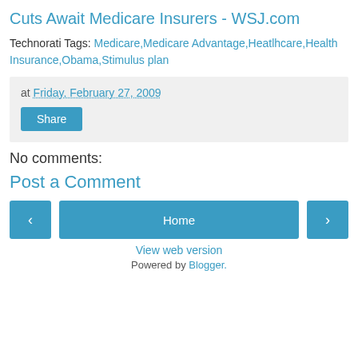Cuts Await Medicare Insurers - WSJ.com
Technorati Tags: Medicare,Medicare Advantage,Heatlhcare,Health Insurance,Obama,Stimulus plan
at Friday, February 27, 2009
Share
No comments:
Post a Comment
Home
View web version
Powered by Blogger.